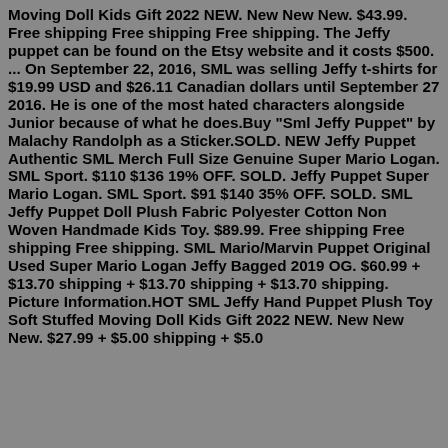Moving Doll Kids Gift 2022 NEW. New New New. $43.99. Free shipping Free shipping Free shipping. The Jeffy puppet can be found on the Etsy website and it costs $500. ... On September 22, 2016, SML was selling Jeffy t-shirts for $19.99 USD and $26.11 Canadian dollars until September 27 2016. He is one of the most hated characters alongside Junior because of what he does.Buy "Sml Jeffy Puppet" by Malachy Randolph as a Sticker.SOLD. NEW Jeffy Puppet Authentic SML Merch Full Size Genuine Super Mario Logan. SML Sport. $110 $136 19% OFF. SOLD. Jeffy Puppet Super Mario Logan. SML Sport. $91 $140 35% OFF. SOLD. SML Jeffy Puppet Doll Plush Fabric Polyester Cotton Non Woven Handmade Kids Toy. $89.99. Free shipping Free shipping Free shipping. SML Mario/Marvin Puppet Original Used Super Mario Logan Jeffy Bagged 2019 OG. $60.99 + $13.70 shipping + $13.70 shipping + $13.70 shipping. Picture Information.HOT SML Jeffy Hand Puppet Plush Toy Soft Stuffed Moving Doll Kids Gift 2022 NEW. New New New. $27.99 + $5.00 shipping + $5.00